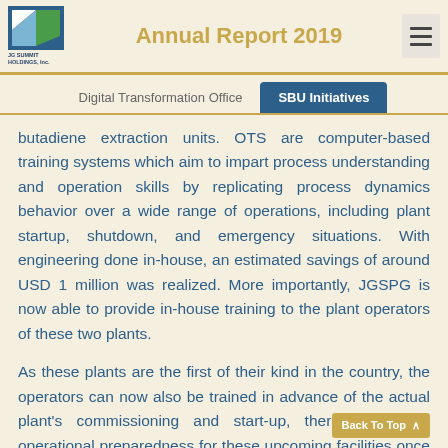Annual Report 2019
Digital Transformation Office   SBU Initiatives
butadiene extraction units. OTS are computer-based training systems which aim to impart process understanding and operation skills by replicating process dynamics behavior over a wide range of operations, including plant startup, shutdown, and emergency situations. With engineering done in-house, an estimated savings of around USD 1 million was realized. More importantly, JGSPG is now able to provide in-house training to the plant operators of these two plants.
As these plants are the first of their kind in the country, the operators can now also be trained in advance of the actual plant's commissioning and start-up, thereby ensuring operational preparedness for these upcoming facilities once they come on-stream by 2020.